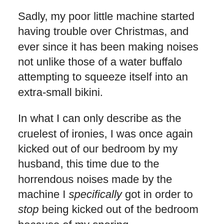Sadly, my poor little machine started having trouble over Christmas, and ever since it has been making noises not unlike those of a water buffalo attempting to squeeze itself into an extra-small bikini.
In what I can only describe as the cruelest of ironies, I was once again kicked out of our bedroom by my husband, this time due to the horrendous noises made by the machine I specifically got in order to stop being kicked out of the bedroom because of my snoring.
2. Ever since last Sunday night I have had a mysterious, and fairly excruciating, pain in my right side. I kept hoping that it would